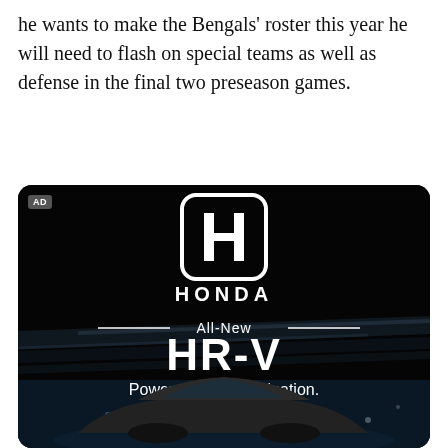he wants to make the Bengals' roster this year he will need to flash on special teams as well as defense in the final two preseason games.
[Figure (illustration): Honda advertisement on dark background showing Honda logo, text 'All-New HR-V', 'Powered by determination.' and a car at the bottom with light streaks. An 'AD' label badge is in the top-left corner.]